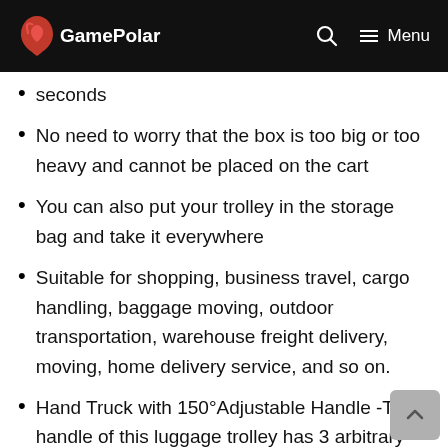GamePolar  Search  Menu
seconds
No need to worry that the box is too big or too heavy and cannot be placed on the cart
You can also put your trolley in the storage bag and take it everywhere
Suitable for shopping, business travel, cargo handling, baggage moving, outdoor transportation, warehouse freight delivery, moving, home delivery service, and so on.
Hand Truck with 150°Adjustable Handle - The handle of this luggage trolley has 3 arbitrary